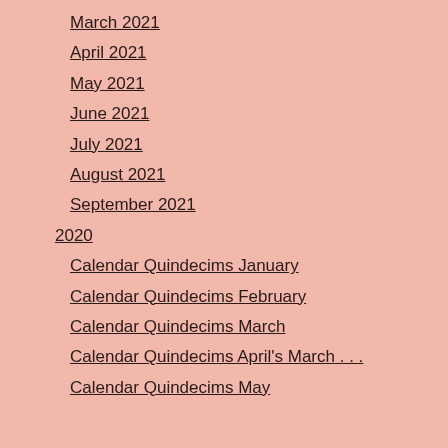March 2021
April 2021
May 2021
June 2021
July 2021
August 2021
September 2021
2020
Calendar Quindecims January
Calendar Quindecims February
Calendar Quindecims March
Calendar Quindecims April's March . . .
Calendar Quindecims May